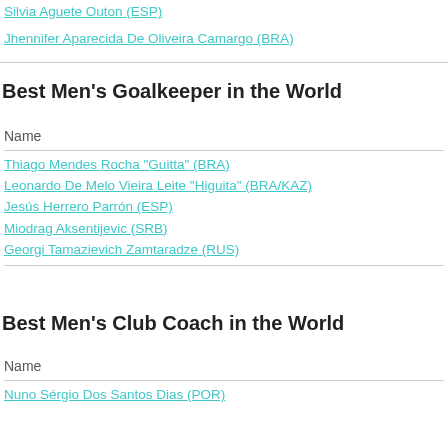Silvia Aguete Outon (ESP)
Jhennifer Aparecida De Oliveira Camargo (BRA)
Best Men's Goalkeeper in the World
| Name |
| --- |
| Thiago Mendes Rocha "Guitta" (BRA) |
| Leonardo De Melo Vieira Leite "Higuita" (BRA/KAZ) |
| Jesús Herrero Parrón (ESP) |
| Miodrag Aksentijevic (SRB) |
| Georgi Tamazievich Zamtaradze (RUS) |
Best Men's Club Coach in the World
| Name |
| --- |
| Nuno Sérgio Dos Santos Dias (POR) |